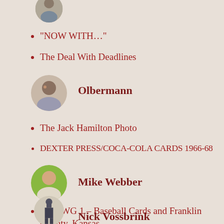[Figure (photo): Circular avatar photo of a person, partially visible at top]
“NOW WITH…”
The Deal With Deadlines
[Figure (photo): Circular avatar photo of Olbermann]
Olbermann
The Jack Hamilton Photo
DEXTER PRESS/COCA-COLA CARDS 1966-68
[Figure (photo): Circular avatar photo of Mike Webber]
Mike Webber
1888 WG 1 – Baseball Cards and Franklin County, Kansas
[Figure (photo): Circular avatar photo of Nick Vossbrink, partially visible at bottom]
Nick Vossbrink